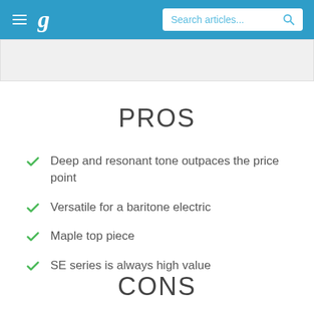g  Search articles...
PROS
Deep and resonant tone outpaces the price point
Versatile for a baritone electric
Maple top piece
SE series is always high value
CONS